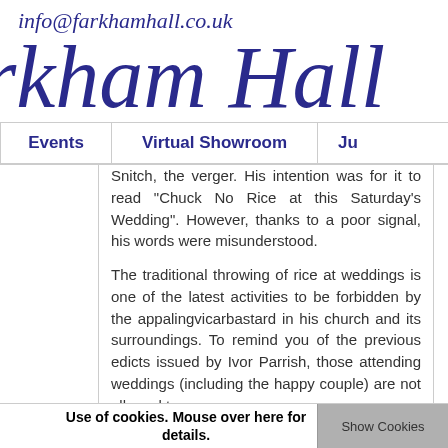info@farkhamhall.co.uk
rkham Hall
Events | Virtual Showroom | Ju
Snitch, the verger. His intention was for it to read "Chuck No Rice at this Saturday's Wedding". However, thanks to a poor signal, his words were misunderstood.
The traditional throwing of rice at weddings is one of the latest activities to be forbidden by the appalingvicarbastard in his church and its surroundings. To remind you of the previous edicts issued by Ivor Parrish, those attending weddings (including the happy couple) are not allowed to:
Use of cookies. Mouse over here for details. | Show Cookies